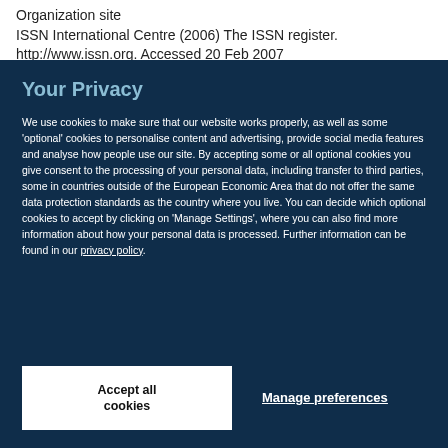Organization site
ISSN International Centre (2006) The ISSN register. http://www.issn.org. Accessed 20 Feb 2007
Your Privacy
We use cookies to make sure that our website works properly, as well as some 'optional' cookies to personalise content and advertising, provide social media features and analyse how people use our site. By accepting some or all optional cookies you give consent to the processing of your personal data, including transfer to third parties, some in countries outside of the European Economic Area that do not offer the same data protection standards as the country where you live. You can decide which optional cookies to accept by clicking on 'Manage Settings', where you can also find more information about how your personal data is processed. Further information can be found in our privacy policy.
Accept all cookies
Manage preferences